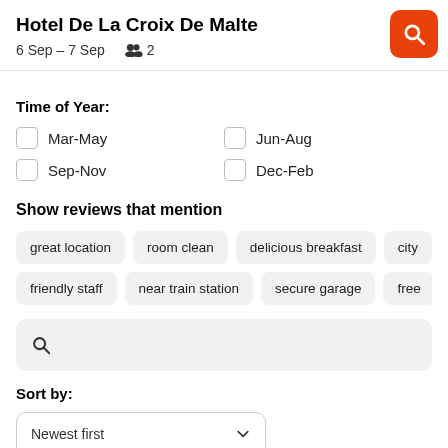Hotel De La Croix De Malte
6 Sep – 7 Sep   👥 2
Time of Year:
Mar-May
Jun-Aug
Sep-Nov
Dec-Feb
Show reviews that mention
great location
room clean
delicious breakfast
city
friendly staff
near train station
secure garage
free
Sort by:
Newest first